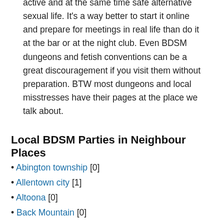active and at the same time safe alternative sexual life. It's a way better to start it online and prepare for meetings in real life than do it at the bar or at the night club. Even BDSM dungeons and fetish conventions can be a great discouragement if you visit them without preparation. BTW most dungeons and local misstresses have their pages at the place we talk about.
Local BDSM Parties in Neighbour Places
• Abington township [0]
• Allentown city [1]
• Altoona [0]
• Back Mountain [0]
• Bangor [0]